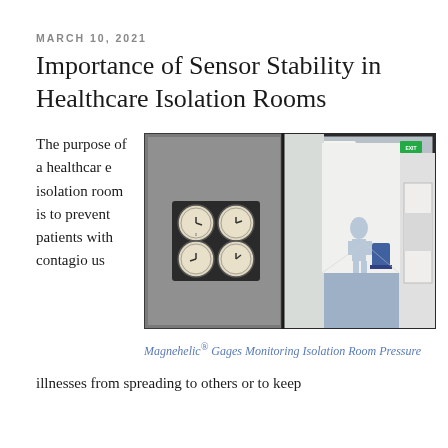MARCH 10, 2021
Importance of Sensor Stability in Healthcare Isolation Rooms
The purpose of a healthcare isolation room is to prevent patients with contagious
[Figure (photo): Left panel shows four Magnehelic pressure gauges mounted on a gray metal door panel. Right panel shows a bright white hospital corridor with a person in protective gear and medical equipment, viewed through a window frame.]
Magnehelic® Gages Monitoring Isolation Room Pressure
illnesses from spreading to others or to keep